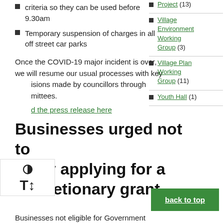criteria so they can be used before 9.30am
Temporary suspension of charges in all off street car parks
Once the COVID-19 major incident is over, we will resume our usual processes with key decisions made by councillors through committees.
d the press release here
Project (13)
Village Environment Working Group (3)
Village Plan Working Group (11)
Youth Hall (1)
Businesses urged not to delay applying for a discretionary grant
Businesses not eligible for Government